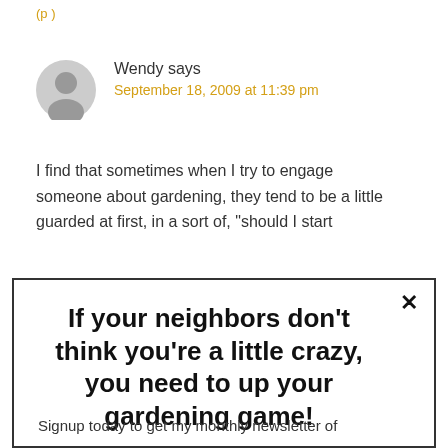(p )
Wendy says
September 18, 2009 at 11:39 pm
I find that sometimes when I try to engage someone about gardening, they tend to be a little guarded at first, in a sort of, "should I start
If your neighbors don't think you're a little crazy, you need to up your gardening game!
Signup today to get my monthly newsletter of